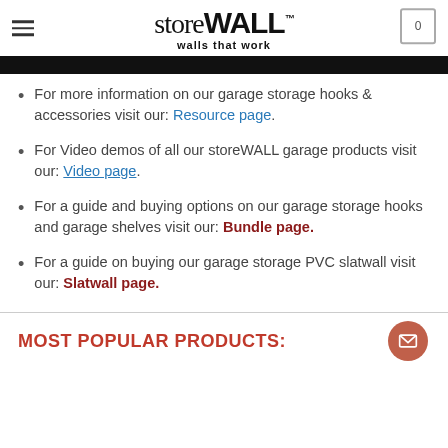storeWALL™ walls that work
For more information on our garage storage hooks & accessories visit our: Resource page.
For Video demos of all our storeWALL garage products visit our: Video page.
For a guide and buying options on our garage storage hooks and garage shelves visit our: Bundle page.
For a guide on buying our garage storage PVC slatwall visit our: Slatwall page.
MOST POPULAR PRODUCTS: